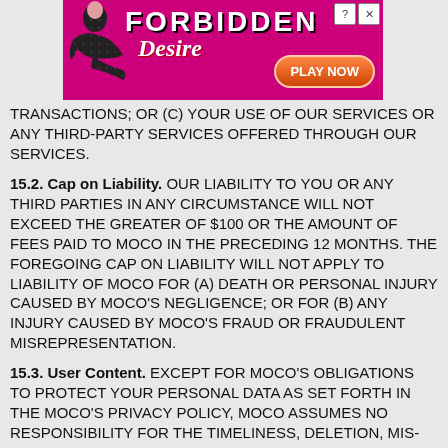[Figure (screenshot): Advertisement banner for 'Forbidden Desire' with pink/purple background, a silhouette figure, bold text and a 'PLAY NOW' button]
TRANSACTIONS; OR (C) YOUR USE OF OUR SERVICES OR ANY THIRD-PARTY SERVICES OFFERED THROUGH OUR SERVICES.
15.2. Cap on Liability. OUR LIABILITY TO YOU OR ANY THIRD PARTIES IN ANY CIRCUMSTANCE WILL NOT EXCEED THE GREATER OF $100 OR THE AMOUNT OF FEES PAID TO MOCO IN THE PRECEDING 12 MONTHS. THE FOREGOING CAP ON LIABILITY WILL NOT APPLY TO LIABILITY OF MOCO FOR (A) DEATH OR PERSONAL INJURY CAUSED BY MOCO'S NEGLIGENCE; OR FOR (B) ANY INJURY CAUSED BY MOCO'S FRAUD OR FRAUDULENT MISREPRESENTATION.
15.3. User Content. EXCEPT FOR MOCO'S OBLIGATIONS TO PROTECT YOUR PERSONAL DATA AS SET FORTH IN THE MOCO'S PRIVACY POLICY, MOCO ASSUMES NO RESPONSIBILITY FOR THE TIMELINESS, DELETION, MIS-DELIVERY OR FAILURE TO STORE ANY CONTENT (INCLUDING, BUT NOT LIMITED TO, YOUR CONTENT AND USER CONTENT), USER COMMUNICATIONS OR PERSONALIZATION SETTINGS.
[Figure (screenshot): Mobile app navigation bar with Meet, Rooms, Chat, Me icons]